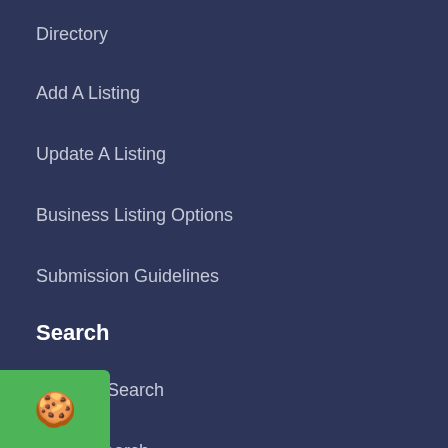Directory
Add A Listing
Update A Listing
Business Listing Options
Submission Guidelines
Search
Browser Search
Profile Search
Information
New Listings
Regional Listings
Maps & Locations
ort
[Figure (logo): Green circular badge with emoji face icon]